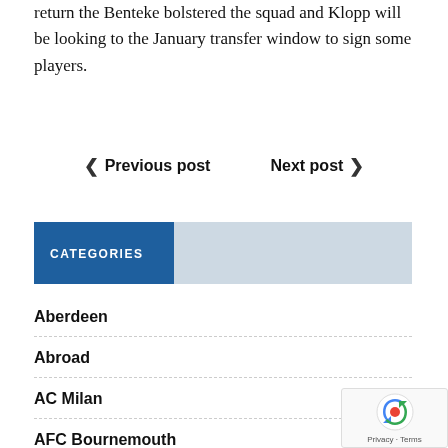return the Benteke bolstered the squad and Klopp will be looking to the January transfer window to sign some players.
< Previous post   Next post >
CATEGORIES
Aberdeen
Abroad
AC Milan
AFC Bournemouth